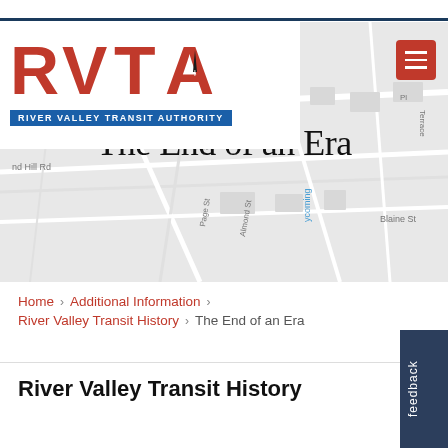[Figure (logo): RVTA River Valley Transit Authority logo with red bold text and blue subtitle bar]
[Figure (map): Street map background showing Keyser Ct, Hill Rd, Lycoming Creek area, Blaine St, with page title 'The End of an Era' overlaid]
The End of an Era
Home > Additional Information > River Valley Transit History > The End of an Era
River Valley Transit History